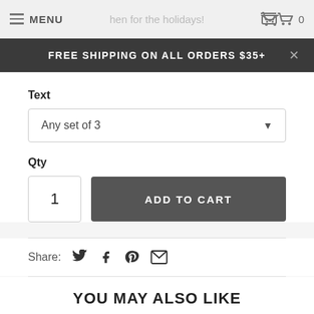MENU  [cart] 0
FREE SHIPPING ON ALL ORDERS $35+
Text
Any set of 3
Qty
1
ADD TO CART
Share:
YOU MAY ALSO LIKE